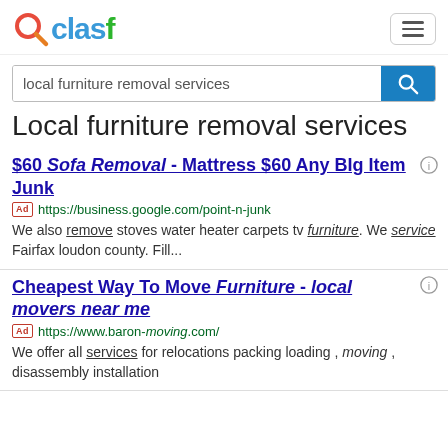clasf logo and navigation
local furniture removal services
Local furniture removal services
$60 Sofa Removal - Mattress $60 Any BIg Item Junk
Ad https://business.google.com/point-n-junk
We also remove stoves water heater carpets tv furniture. We service Fairfax loudon county. Fill...
Cheapest Way To Move Furniture - local movers near me
Ad https://www.baron-moving.com/
We offer all services for relocations packing loading , moving , disassembly installation